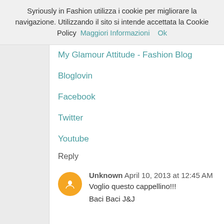Syriously in Fashion utilizza i cookie per migliorare la navigazione. Utilizzando il sito si intende accettata la Cookie Policy  Maggiori Informazioni    Ok
My Glamour Attitude - Fashion Blog
Bloglovin
Facebook
Twitter
Youtube
Reply
Unknown April 10, 2013 at 12:45 AM
Voglio questo cappellino!!!

Baci Baci J&J